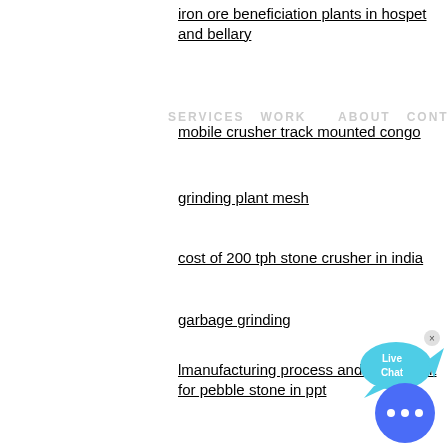iron ore beneficiation plants in hospet and bellary
SERVICES  WORK    ABOUT  CONTACT
mobile crusher track mounted congo
grinding plant mesh
cost of 200 tph stone crusher in india
garbage grinding
lmanufacturing process and equipment for pebble stone in ppt
[Figure (other): Live Chat button with speech bubble icon in cyan/blue]
COLOR:
Orange
Blue
Yellow
graphite beneficiation in plant
exploded view of 4 25 cone crusher
lgold ore crushing production line
[Figure (other): Messenger/chat circular blue button with ellipsis icon]
sidhi vinayak cement plant in rajasthan